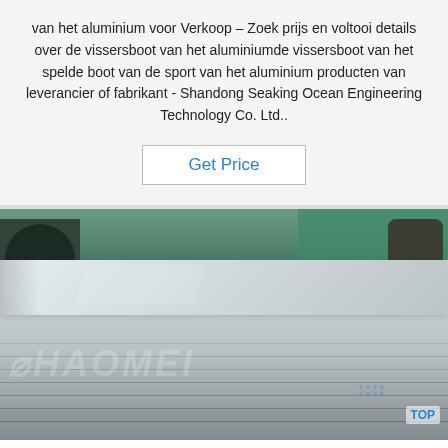van het aluminium voor Verkoop – Zoek prijs en voltooi details over de vissersboot van het aluminiumde vissersboot van het spelde boot van de sport van het aluminium producten van leverancier of fabrikant - Shandong Seaking Ocean Engineering Technology Co. Ltd..
Get Price
[Figure (photo): Industrial photograph of stacked aluminum sheets in a factory/warehouse setting. A worker in protective gear is visible in the background. A watermark reading 'HAOMEI' appears across the image, along with a 'TOP' logo in the bottom right.]